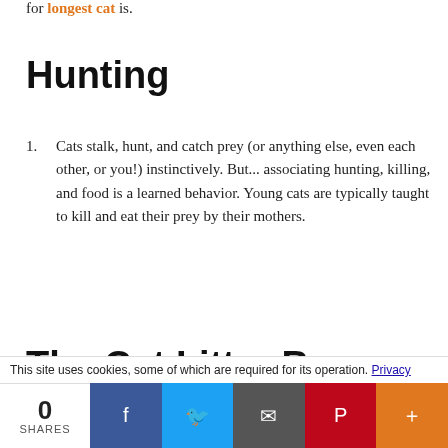for longest cat is.
Hunting
Cats stalk, hunt, and catch prey (or anything else, even each other, or you!) instinctively. But... associating hunting, killing, and food is a learned behavior. Young cats are typically taught to kill and eat their prey by their mothers.
The Cat Litter Box
This site uses cookies, some of which are required for its operation. Privacy
0 SHARES